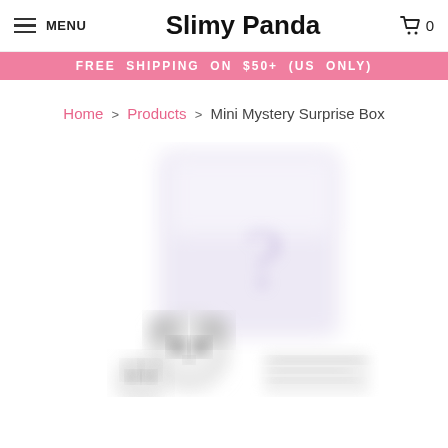MENU  Slimy Panda  0
FREE SHIPPING ON $50+ (US ONLY)
Home > Products > Mini Mystery Surprise Box
[Figure (photo): Blurred product photo of a Mini Mystery Surprise Box featuring a white box with a question mark and a panda design at the bottom, slightly blurred/obscured.]